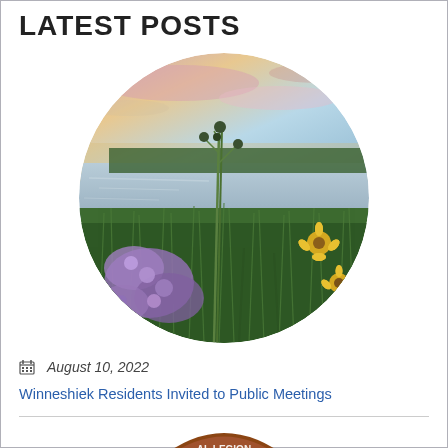LATEST POSTS
[Figure (photo): Circular cropped photo of a prairie wildflower meadow at sunset near a body of water. Purple wildflowers and yellow black-eyed Susans are visible in green tall grass. Pink and orange sunset sky in background.]
August 10, 2022
Winneshiek Residents Invited to Public Meetings
[Figure (logo): Partial logo visible at bottom of page, brown/orange arc shape with white text, partially cropped.]